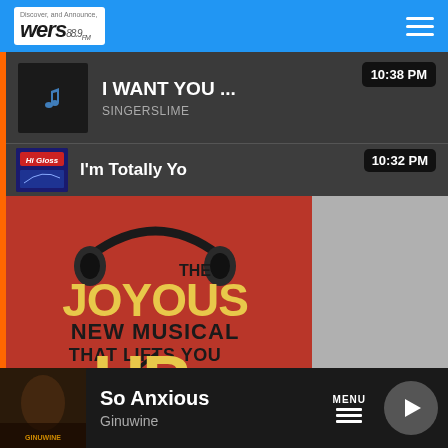[Figure (screenshot): WERS 88.9 FM radio station app navigation bar with logo and hamburger menu on blue background]
I WANT YOU ...
SINGERSLIME
10:38 PM
I'm Totally Yo
10:32 PM
[Figure (photo): Sing Street musical promotional poster - red background with headphones graphic, text reads: THE JOYOUS NEW MUSICAL THAT LIFTS YOU UP - SING STREET A NEW MUSICAL]
So Anxious
Ginuwine
MENU